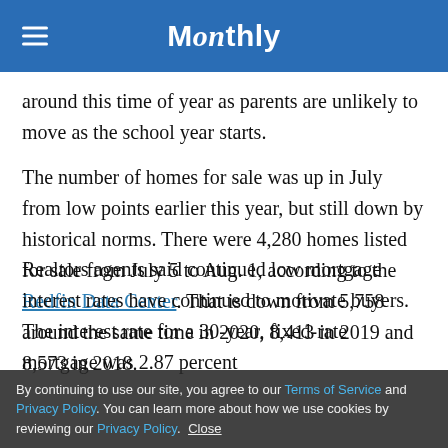Monthly
around this time of year as parents are unlikely to move as the school year starts.
The number of homes for sale was up in July from low points earlier this year, but still down by historical norms. There were 4,280 homes listed for sale from July 5 to Aug. 1, according to the Redfin Data Center. That is down from 5,758 around the same time in 2020, 8,413 in 2019 and 8,573 in 2018.
Realtors agents said continued low mortgage interest rates have continued to motivate buyers. The interest rate for a 30-year, fixed-rate mortgage was 2.87 percent
By continuing to use our site, you agree to our Terms of Service and Privacy Policy. You can learn more about how we use cookies by reviewing our Privacy Policy. Close